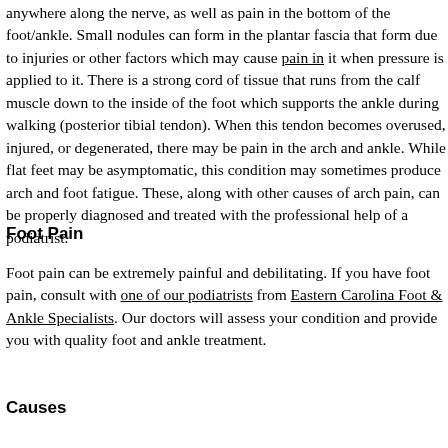anywhere along the nerve, as well as pain in the bottom of the foot/ankle. Small nodules can form in the plantar fascia that form due to injuries or other factors which may cause pain in it when pressure is applied to it. There is a strong cord of tissue that runs from the calf muscle down to the inside of the foot which supports the ankle during walking (posterior tibial tendon). When this tendon becomes overused, injured, or degenerated, there may be pain in the arch and ankle. While flat feet may be asymptomatic, this condition may sometimes produce arch and foot fatigue. These, along with other causes of arch pain, can be properly diagnosed and treated with the professional help of a podiatrist.
Foot Pain
Foot pain can be extremely painful and debilitating. If you have foot pain, consult with one of our podiatrists from Eastern Carolina Foot & Ankle Specialists. Our doctors will assess your condition and provide you with quality foot and ankle treatment.
Causes